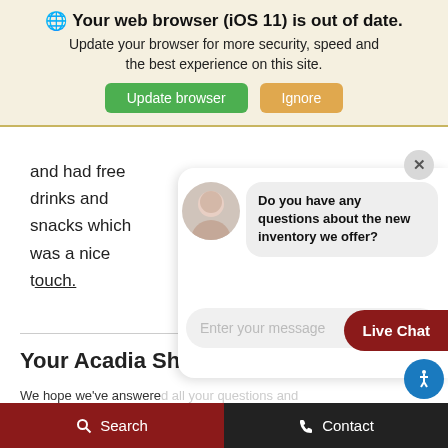[Figure (screenshot): Browser update warning banner with globe icon, bold warning text, and two buttons: 'Update browser' (green) and 'Ignore' (tan/gold). Background is light cream/yellow.]
and had free drinks and snacks which was a nice touch.
Your Acadia Sh...
We hope we've answere... you should consider the Ray Skillman Auto Gr... choice when shopping for a new or pre-owned...
[Figure (screenshot): Chat widget overlay showing a close X button, a female avatar, a chat bubble reading 'Do you have any questions about the new inventory we offer?', and a text input field 'Enter your message' with a send arrow icon.]
[Figure (screenshot): Live Chat button (dark red rounded pill shape) and a blue accessibility icon circle at bottom right.]
Search   Contact